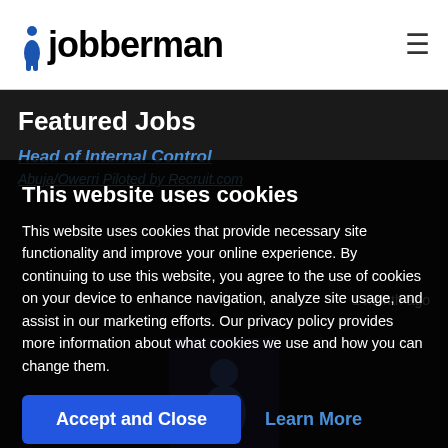[Figure (logo): Jobberman logo with blue figure/person silhouette and bold text]
Featured Jobs
Head of Internal Control
1 month ago
This website uses cookies
This website uses cookies that provide necessary site functionality and improve your online experience. By continuing to use this website, you agree to the use of cookies on your device to enhance navigation, analyze site usage, and assist in our marketing efforts. Our privacy policy provides more information about what cookies we use and how you can change them.
Accept and Close
Learn More